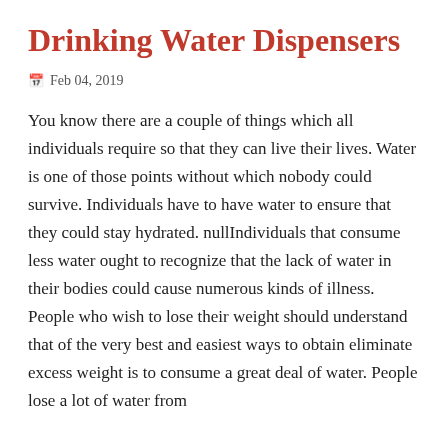Drinking Water Dispensers
Feb 04, 2019
You know there are a couple of things which all individuals require so that they can live their lives. Water is one of those points without which nobody could survive. Individuals have to have water to ensure that they could stay hydrated. nullIndividuals that consume less water ought to recognize that the lack of water in their bodies could cause numerous kinds of illness. People who wish to lose their weight should understand that of the very best and easiest ways to obtain eliminate excess weight is to consume a great deal of water. People lose a lot of water from